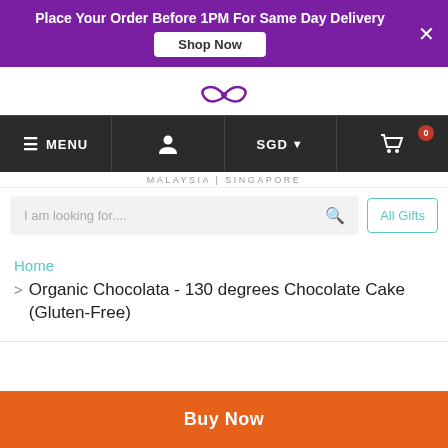Place Your Order Before 1PM For Same Day Delivery
Shop Now
[Figure (logo): Purple ribbon/butterfly logo icon]
≡ MENU | user icon | SGD ▾ | cart icon (0)
MALAYSIA | SINGAPORE
I am looking for.... [search] | All Gifts
Home
> Organic Chocolata - 130 degrees Chocolate Cake (Gluten-Free)
Buy Now